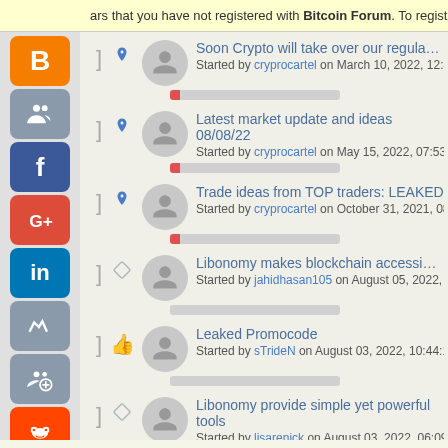ars that you have not registered with Bitcoin Forum. To register, please click
Soon Crypto will take over our regular currency.It will be a wa to endure the.. Started by cryprocartel on March 10, 2022, 12:46:06 PM « 1 2 All »
Latest market update and ideas 08/08/22 Started by cryprocartel on May 15, 2022, 07:53:18 AM
Trade ideas from TOP traders: LEAKED Started by cryprocartel on October 31, 2021, 08:16:34 AM « 1 2 All »
Libonomy makes blockchain accessible to everyone through easy-to-use. Started by jahidhasan105 on August 05, 2022, 05:12:00 PM
Leaked Promocode Started by sTrideN on August 03, 2022, 10:44:14 PM
Libonomy provide simple yet powerful tools Started by lisarenick on August 03, 2022, 06:09:29 PM